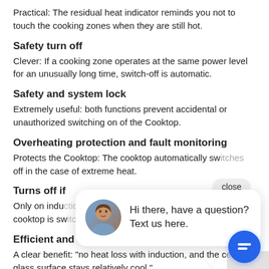Practical: The residual heat indicator reminds you not to touch the cooking zones when they are still hot.
Safety turn off
Clever: If a cooking zone operates at the same power level for an unusually long time, switch-off is automatic.
Safety and system lock
Extremely useful: both functions prevent accidental or unauthorized switching on of the Cooktop.
Overheating protection and fault monitoring
Protects the Cooktop: The cooktop automatically switches off in the case of extreme heat.
Turns off if
Only on induction cooktops: if no cookware is detected, the cooktop is switched off immediately.
Efficient and safe
A clear benefit: "no heat loss with induction, and the ceramic glass surface stays relatively cool."
Pan size recognition
[Figure (screenshot): Chat popup overlay with avatar photo of a woman, message 'Hi there, have a question? Text us here.', close button, and blue chat bubble button.]